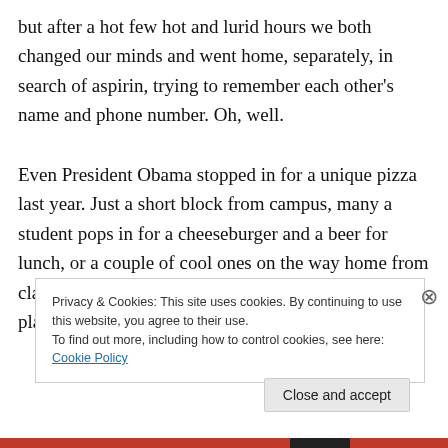but after a hot few hot and lurid hours we both changed our minds and went home, separately, in search of aspirin, trying to remember each other's name and phone number. Oh, well.
Even President Obama stopped in for a unique pizza last year. Just a short block from campus, many a student pops in for a cheeseburger and a beer for lunch, or a couple of cool ones on the way home from class, and/or for a study break around 9:00pm. The place has been around
Privacy & Cookies: This site uses cookies. By continuing to use this website, you agree to their use.
To find out more, including how to control cookies, see here: Cookie Policy
Close and accept